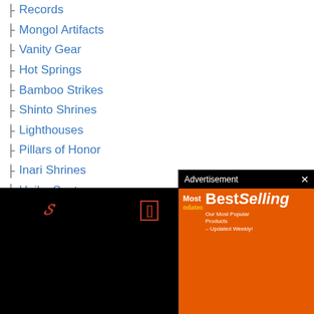Records
Mongol Artifacts
Vanity Gear
Hot Springs
Bamboo Strikes
Shinto Shrines
Lighthouses
Pillars of Honor
Inari Shrines
Haiku Spots
Hidden Altars
Sahimono Banners
Singing Crickets
Useful Guides
Collectibles Guide
[Figure (screenshot): AliExpress advertisement overlay with orange background showing 'Best Selling - Our Most Popular Products - Updated Weekly!' with shopping cart graphic, AliExpress logo and Shop Now button]